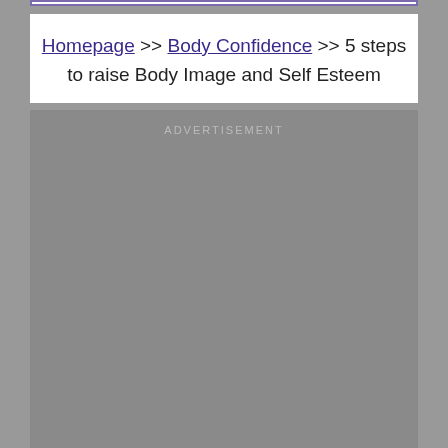Homepage >> Body Confidence >> 5 steps to raise Body Image and Self Esteem
[Figure (other): Advertisement placeholder box with gray background and 'ADVERTISEMENT' label text]